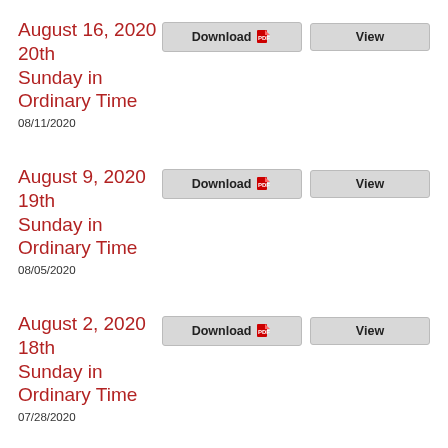August 16, 2020 20th Sunday in Ordinary Time
08/11/2020
August 9, 2020 19th Sunday in Ordinary Time
08/05/2020
August 2, 2020 18th Sunday in Ordinary Time
07/28/2020
July 26, 2020 17th Sunday in Ordinary Time
07/21/2020
July 19, 2020 16th